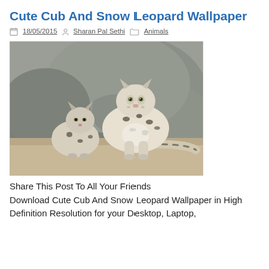Cute Cub And Snow Leopard Wallpaper
18/05/2015   Sharan Pal Sethi   Animals
[Figure (photo): A snow leopard sitting upright on rocky terrain with a cub beside it to the left. Both animals are in front of large grey boulders. The snow leopard adult has distinctive black-spotted white/grey fur and is looking forward. The cub is smaller and sits to the left.]
Share This Post To All Your Friends
Download Cute Cub And Snow Leopard Wallpaper in High Definition Resolution for your Desktop, Laptop,